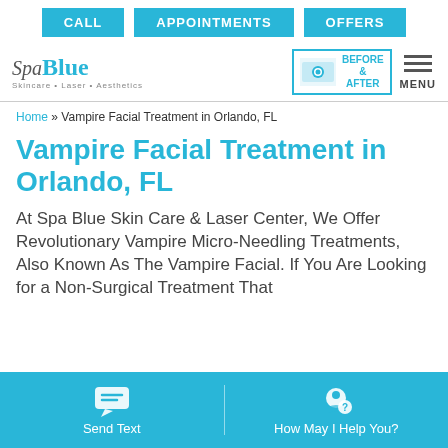CALL | APPOINTMENTS | OFFERS
[Figure (logo): Spa Blue logo with tagline: Skincare • Laser • Aesthetics, alongside Before & After button and MENU icon]
Home » Vampire Facial Treatment in Orlando, FL
Vampire Facial Treatment in Orlando, FL
At Spa Blue Skin Care & Laser Center, We Offer Revolutionary Vampire Micro-Needling Treatments, Also Known As The Vampire Facial. If You Are Looking for a Non-Surgical Treatment That
Send Text | How May I Help You?